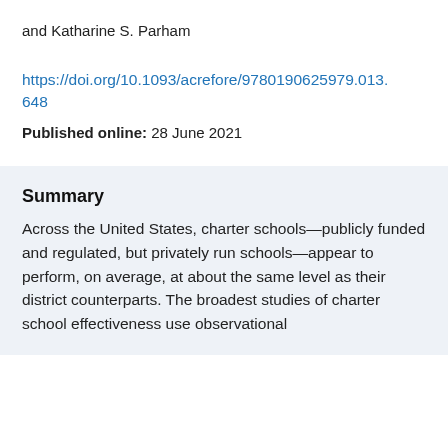and Katharine S. Parham
https://doi.org/10.1093/acrefore/9780190625979.013.648
Published online: 28 June 2021
Summary
Across the United States, charter schools—publicly funded and regulated, but privately run schools—appear to perform, on average, at about the same level as their district counterparts. The broadest studies of charter school effectiveness use observational